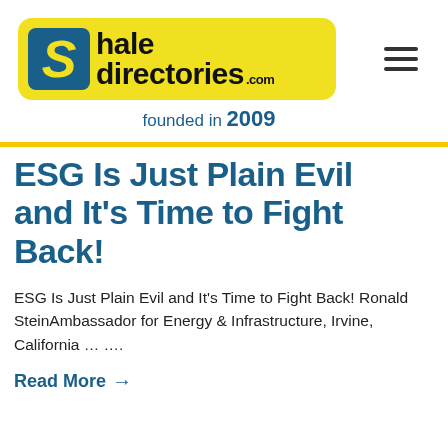[Figure (logo): SHaleDirectories.com logo on yellow rounded rectangle background with large S in blue box]
founded in 2009
ESG Is Just Plain Evil and It's Time to Fight Back!
ESG Is Just Plain Evil and It's Time to Fight Back! Ronald SteinAmbassador for Energy & Infrastructure, Irvine, California … ….
Read More →